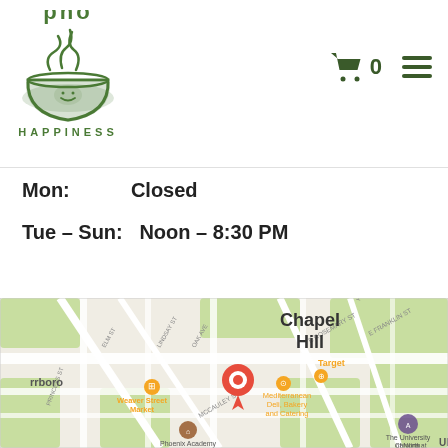[Figure (logo): Pho Happiness restaurant logo with a bowl of noodles and steam]
🛒 0  ☰
Mon:  Closed
Tue – Sun:  Noon – 8:30 PM
[Figure (map): Google Maps showing Chapel Hill area with Weaver Street Market, Mediterranean Deli Bakery and Catering, Target, Phoenix Academy, and The University of North Carolina at Chapel Hill marked. A red pin marks the restaurant location.]